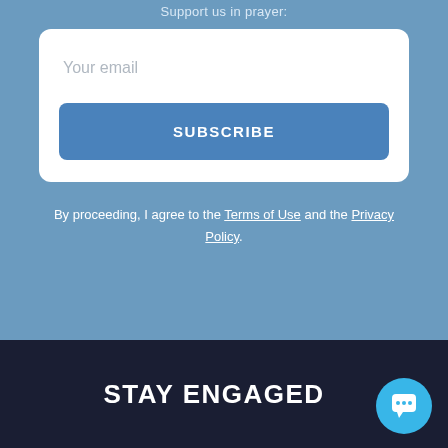Support us in prayer:
Your email
SUBSCRIBE
By proceeding, I agree to the Terms of Use and the Privacy Policy.
STAY ENGAGED